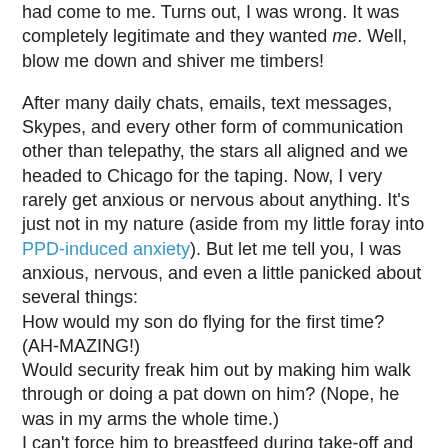had come to me. Turns out, I was wrong. It was completely legitimate and they wanted me. Well, blow me down and shiver me timbers!
After many daily chats, emails, text messages, Skypes, and every other form of communication other than telepathy, the stars all aligned and we headed to Chicago for the taping. Now, I very rarely get anxious or nervous about anything. It's just not in my nature (aside from my little foray into PPD-induced anxiety). But let me tell you, I was anxious, nervous, and even a little panicked about several things: How would my son do flying for the first time? (AH-MAZING!) Would security freak him out by making him walk through or doing a pat down on him? (Nope, he was in my arms the whole time.) I can't force him to breastfeed during take-off and landing, so are his ears going to cause him great pain? (Breastfed during take-off on the way there, ears hurt on the descent, ears hurt on the way up when we returned, breastfed on the way down, so it was a 50/50 split, but he was such a trooper.) Is the car company going to remember to send a car seat for